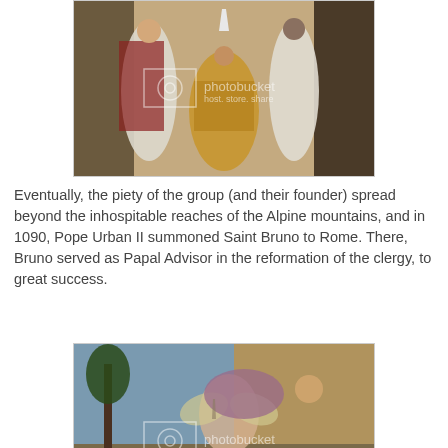[Figure (photo): Painting of religious figures including a bishop or pope in ornate robes surrounded by clergy members in white. Has a photobucket watermark.]
Eventually, the piety of the group (and their founder) spread beyond the inhospitable reaches of the Alpine mountains, and in 1090, Pope Urban II summoned Saint Bruno to Rome. There, Bruno served as Papal Advisor in the reformation of the clergy, to great success.
[Figure (photo): Painting depicting angels and figures in a landscape setting, possibly a religious or mythological scene. Has a photobucket watermark.]